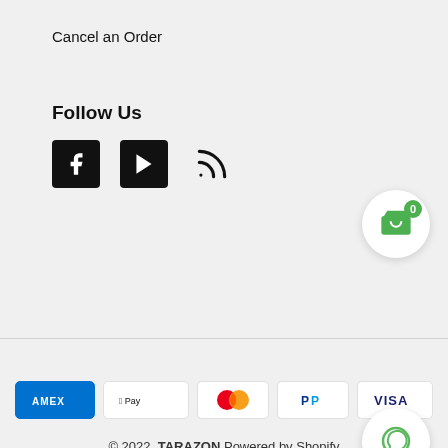Cancel an Order
Follow Us
[Figure (infographic): Social media icons: Facebook, YouTube, RSS feed]
[Figure (infographic): Shopping cart bubble icon with badge showing 0]
[Figure (infographic): Payment method icons: AMEX, Apple Pay, Mastercard, PayPal, VISA]
© 2022, TARAZON Powered by Shopify
[Figure (infographic): Chat bubble icon (green outline)]